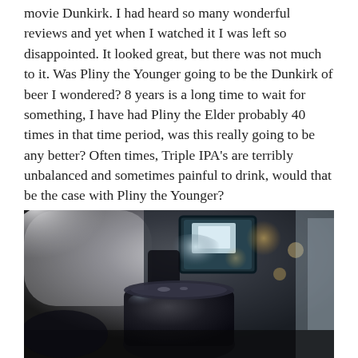movie Dunkirk. I had heard so many wonderful reviews and yet when I watched it I was left so disappointed. It looked great, but there was not much to it. Was Pliny the Younger going to be the Dunkirk of beer I wondered? 8 years is a long time to wait for something, I have had Pliny the Elder probably 40 times in that time period, was this really going to be any better? Often times, Triple IPA's are terribly unbalanced and sometimes painful to drink, would that be the case with Pliny the Younger?
[Figure (photo): A dark, moody close-up photograph of what appears to be a glass of dark beer on a bar counter, with blurred bar interior and bokeh lights visible in the background.]